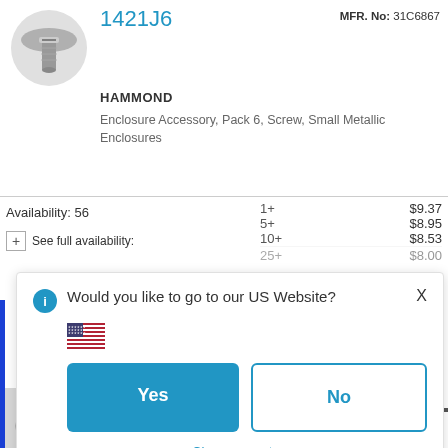[Figure (photo): Metal screw/bolt product photo]
1421J6
MFR. No: 31C6867
HAMMOND
Enclosure Accessory, Pack 6, Screw, Small Metallic Enclosures
| Qty | Price |
| --- | --- |
| 1+ | $9.37 |
| 5+ | $8.95 |
| 10+ | $8.53 |
| 25+ | $8.00 |
Availability: 56
+ See full availability:
Would you like to go to our US Website?
Yes
No
or Choose country
Remember this choice and automatically redirect me in the future